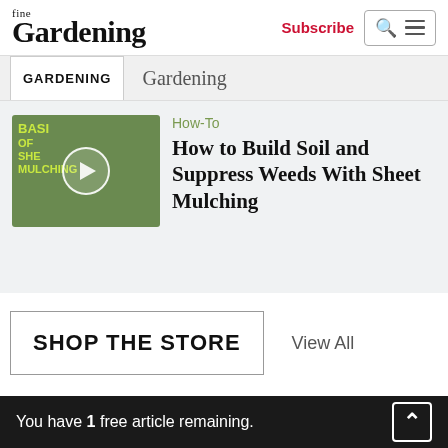fine Gardening — Subscribe
GARDENING  Gardening
[Figure (screenshot): Video thumbnail showing sheet mulching tutorial with play button overlay. Text reads: BASICS OF SHEET MULCHING]
How-To
How to Build Soil and Suppress Weeds With Sheet Mulching
SHOP THE STORE  View All
You have 1 free article remaining.